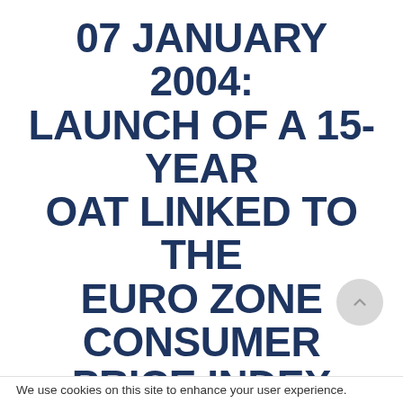07 JANUARY 2004: LAUNCH OF A 15-YEAR OAT LINKED TO THE EURO ZONE CONSUMER PRICE INDEX
This page is an archive, only available in English and French.
Agence France Tresor announces the launch of the new
We use cookies on this site to enhance your user experience.